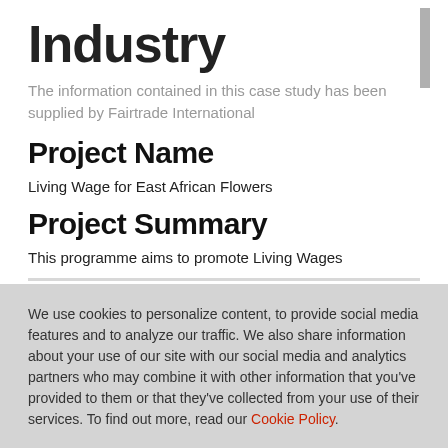Industry
The information contained in this case study has been supplied by Fairtrade International
Project Name
Living Wage for East African Flowers
Project Summary
This programme aims to promote Living Wages
We use cookies to personalize content, to provide social media features and to analyze our traffic. We also share information about your use of our site with our social media and analytics partners who may combine it with other information that you've provided to them or that they've collected from your use of their services. To find out more, read our Cookie Policy.